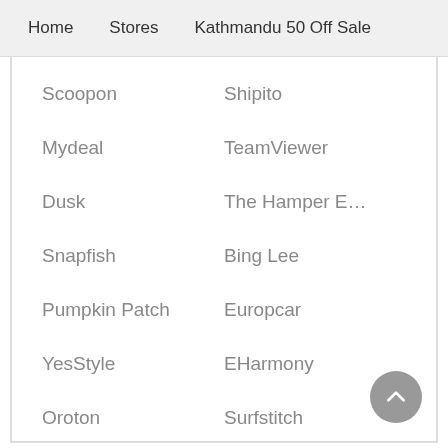Home    Stores    Kathmandu 50 Off Sale
Scoopon
Shipito
Mydeal
TeamViewer
Dusk
The Hamper E...
Snapfish
Bing Lee
Pumpkin Patch
Europcar
YesStyle
EHarmony
Oroton
Surfstitch